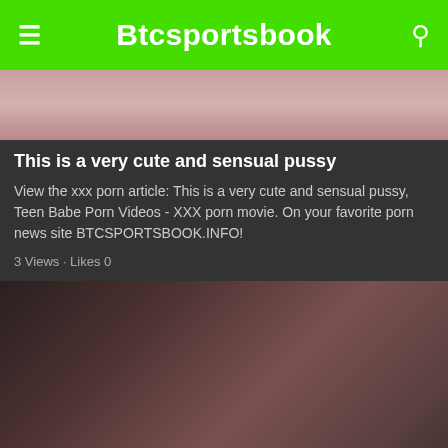Btcsportsbook
[Figure (photo): Partial view of a person with pink hair on a bed]
This is a very cute and sensual pussy
View the xxx porn article: This is a very cute and sensual pussy, Teen Babe Porn Videos - XXX porn movie. On your favorite porn news site BTCSPORTSBOOK.INFO!
3 Views · Likes 0
[Figure (photo): Three people in an intimate scene indoors]
Xxx positions with two arab girls do all the work
View the xxx porn article: Xxx positions with two arab